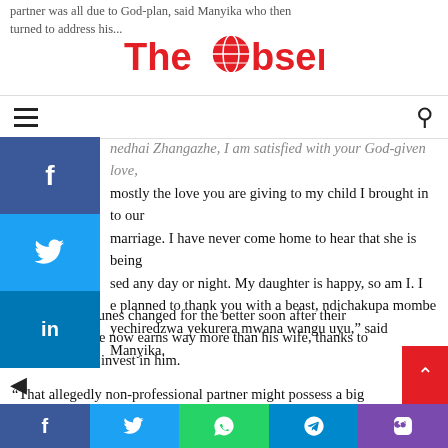partner was all due to God-plan, said Manyika who then turned to address his...
[Figure (logo): The Observer newspaper logo in red with globe icon]
...nedhai Zhangazhe, I am satisfied with your God-given love, mostly the love you are giving to my child I brought in to our marriage. I have never come home to hear that she is being sed any day or night. My daughter is happy, so am I. I e planned to thank you with a beast, ndichakupa mombe yechiredzwa yekurera mwana wangu uyu," said Manyika.
Manyika's fortunes changed for the better soon after their marriage and he now earns way more than his wife, thanks to her decision to invest in him.
“That allegedly non-professional partner might possess a big money making ability that you do not have.